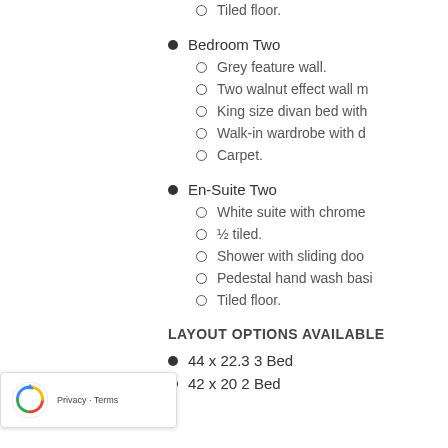Tiled floor.
Bedroom Two
Grey feature wall.
Two walnut effect wall m…
King size divan bed with…
Walk-in wardrobe with d…
Carpet.
En-Suite Two
White suite with chrome…
½ tiled.
Shower with sliding doo…
Pedestal hand wash basi…
Tiled floor.
LAYOUT OPTIONS AVAILABLE
44 x 22.3 3 Bed
42 x 20 2 Bed